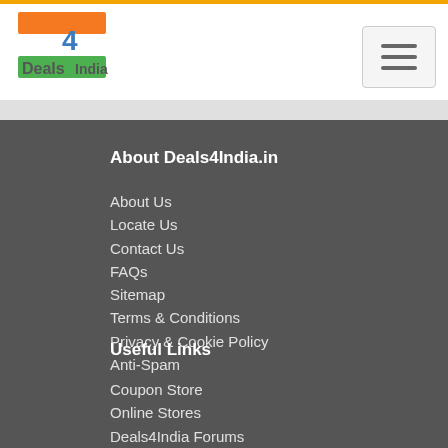[Figure (logo): Deals4India logo with Indian flag colors - orange, white, green with text]
Navigation hamburger menu button
About Deals4India.in
About Us
Locate Us
Contact Us
FAQs
Sitemap
Terms & Conditions
Privacy & Cookie Policy
Anti-Spam
Useful Links
Coupon Store
Online Stores
Deals4India Forums
Deals4India Blogs